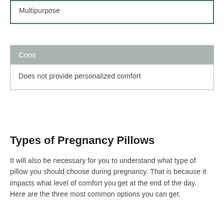Multipurpose
| Cons |
| --- |
| Does not provide personalized comfort |
Types of Pregnancy Pillows
It will also be necessary for you to understand what type of pillow you should choose during pregnancy. That is because it impacts what level of comfort you get at the end of the day. Here are the three most common options you can get.